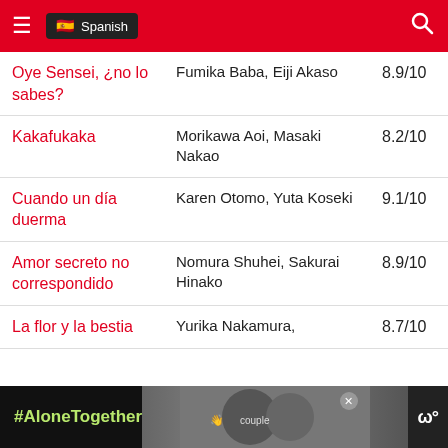☰ Spanish [search]
| Title | Cast | Rating |
| --- | --- | --- |
| Oye Sensei, ¿no lo sabes? | Fumika Baba, Eiji Akaso | 8.9/10 |
| Kakafukaka | Morikawa Aoi, Masaki Nakao | 8.2/10 |
| Cuando un día duerma | Karen Otomo, Yuta Koseki | 9.1/10 |
| Amor secreto no correspondido | Nomura Shuhei, Sakurai Hinako | 8.9/10 |
| La flor y la bestia | Yurika Nakamura, | 8.7/10 |
[Figure (infographic): #AloneTogether advertisement banner with photo of a couple and a logo]